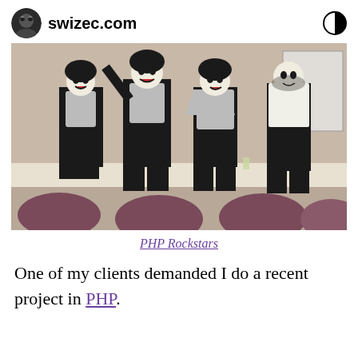swizec.com
[Figure (photo): Four people dressed in KISS band costumes with black and silver outfits and white face paint with black designs, standing on a stage or table in a conference room setting, with chairs in the foreground.]
PHP Rockstars
One of my clients demanded I do a recent project in PHP.